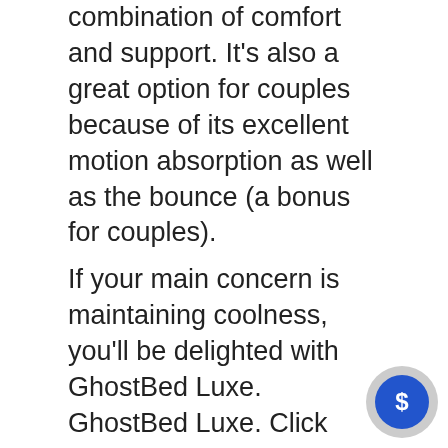combination of comfort and support. It's also a great option for couples because of its excellent motion absorption as well as the bounce (a bonus for couples).
If your main concern is maintaining coolness, you'll be delighted with GhostBed Luxe. GhostBed Luxe. Click here for the best deal!
CHECK LOWEST PRICE HERE
Best Mattress for Back Pain – Casper Wave Hybrid